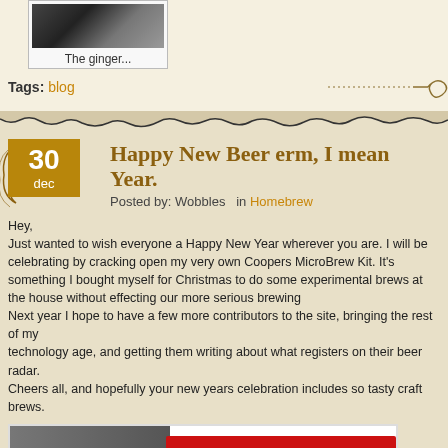[Figure (photo): Photo of ginger item, dark tones]
The ginger...
Tags: blog
Happy New Beer erm, I mean Year.
Posted by: Wobbles   in Homebrew
Hey,
Just wanted to wish everyone a Happy New Year wherever you are. I will be celebrating by cracking open my very own Coopers MicroBrew Kit. It's something I bought myself for Christmas to do some experimental brews at the house without effecting our more serious brewing equipment.
Next year I hope to have a few more contributors to the site, bringing the rest of my friends into the technology age, and getting them writing about what registers on their beer radar.
Cheers all, and hopefully your new years celebration includes so tasty craft brews.
[Figure (photo): Coopers MicroBrew Kit box, red packaging with white Coopers logo script]